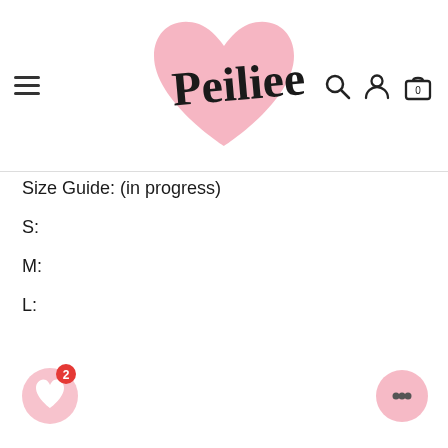[Figure (logo): Peiliee brand logo: pink heart shape with stylized cursive 'Peiliee' text in black]
Size Guide: (in progress)
S:
M:
L:
[Figure (other): Pink circular wishlist/heart button with red badge showing '2']
[Figure (other): Pink circular chat/message button at bottom right]